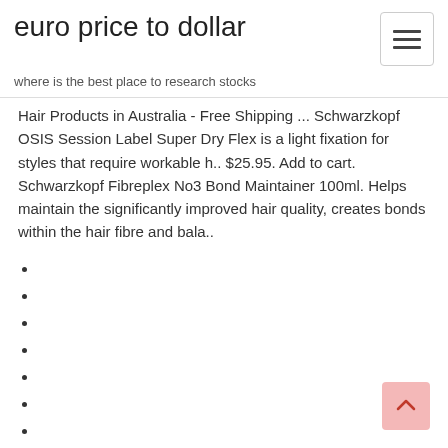euro price to dollar
where is the best place to research stocks
Hair Products in Australia - Free Shipping ... Schwarzkopf OSIS Session Label Super Dry Flex is a light fixation for styles that require workable h.. $25.95. Add to cart. Schwarzkopf Fibreplex No3 Bond Maintainer 100ml. Helps maintain the significantly improved hair quality, creates bonds within the hair fibre and bala..